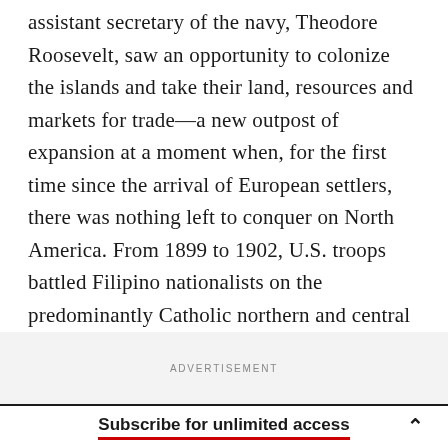assistant secretary of the navy, Theodore Roosevelt, saw an opportunity to colonize the islands and take their land, resources and markets for trade—a new outpost of expansion at a moment when, for the first time since the arrival of European settlers, there was nothing left to conquer on North America. From 1899 to 1902, U.S. troops battled Filipino nationalists on the predominantly Catholic northern and central islands, until the provisional government was finally captured and surrendered.
ADVERTISEMENT
Subscribe for unlimited access